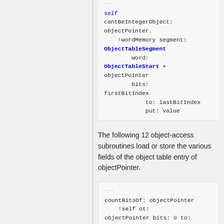self cantBeIntegerObject: objectPointer. ↑wordMemory segment: ObjectTableSegment word: ObjectTableStart + objectPointer bits: firstBitIndex to: lastBitIndex put: value
The following 12 object-access subroutines load or store the various fields of the object table entry of objectPointer.
countBitsOf: objectPointer ↑self ot: objectPointer bits: 0 to: 7